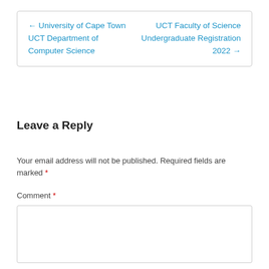← University of Cape Town UCT Department of Computer Science    UCT Faculty of Science Undergraduate Registration 2022 →
Leave a Reply
Your email address will not be published. Required fields are marked *
Comment *